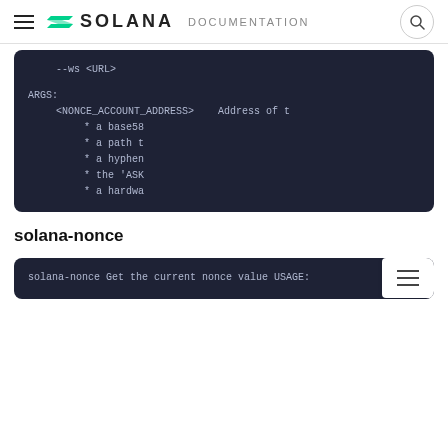SOLANA DOCUMENTATION
[Figure (screenshot): Code block showing --ws <URL> option, ARGS section with <NONCE_ACCOUNT_ADDRESS> and its description listing base58, path, hyphen, ASK, and hardware wallet options (truncated)]
solana-nonce
[Figure (screenshot): Code block showing: solana-nonce / Get the current nonce value / USAGE: — with a table-of-contents button overlay]